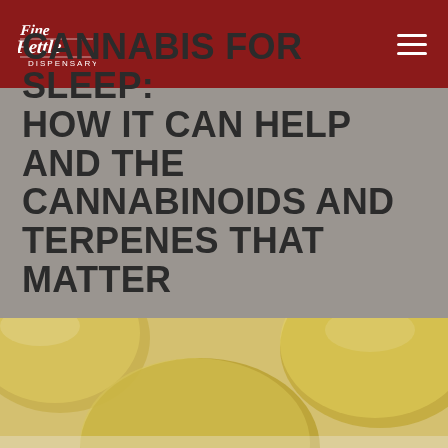[Figure (logo): Fine Fettle Dispensary logo in white text on dark red background]
CANNABIS FOR SLEEP: HOW IT CAN HELP AND THE CANNABINOIDS AND TERPENES THAT MATTER
[Figure (photo): Close-up of golden yellow cannabis oil capsules/gel caps on a light surface]